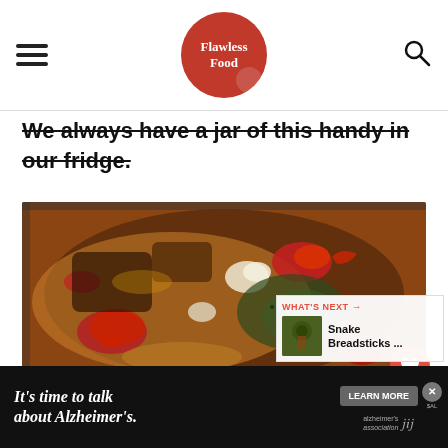Flawless Food
We always have a jar of this handy in our fridge.
[Figure (photo): Close-up photo of a cooking pot with tomatoes, garlic, herbs and spices in oil]
[Figure (other): What's Next panel showing Snake Breadsticks thumbnail]
[Figure (other): Advertisement banner: It's time to talk about Alzheimer's. Learn More. Alzheimer's Association.]